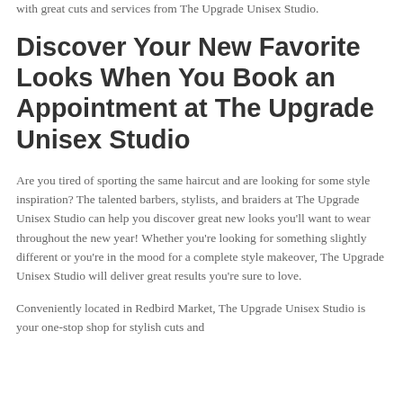with great cuts and services from The Upgrade Unisex Studio.
Discover Your New Favorite Looks When You Book an Appointment at The Upgrade Unisex Studio
Are you tired of sporting the same haircut and are looking for some style inspiration? The talented barbers, stylists, and braiders at The Upgrade Unisex Studio can help you discover great new looks you'll want to wear throughout the new year! Whether you're looking for something slightly different or you're in the mood for a complete style makeover, The Upgrade Unisex Studio will deliver great results you're sure to love.
Conveniently located in Redbird Market, The Upgrade Unisex Studio is your one-stop shop for stylish cuts and